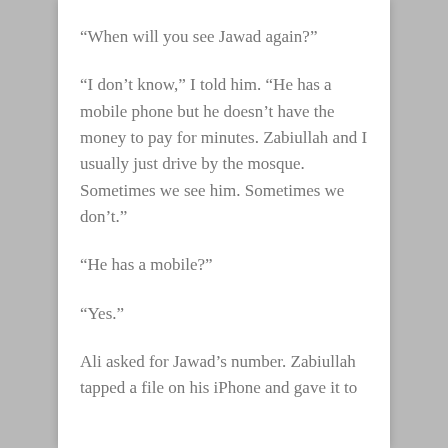“When will you see Jawad again?”
“I don’t know,” I told him. “He has a mobile phone but he doesn’t have the money to pay for minutes. Zabiullah and I usually just drive by the mosque. Sometimes we see him. Sometimes we don’t.”
“He has a mobile?”
“Yes.”
Ali asked for Jawad’s number. Zabiullah tapped a file on his iPhone and gave it to